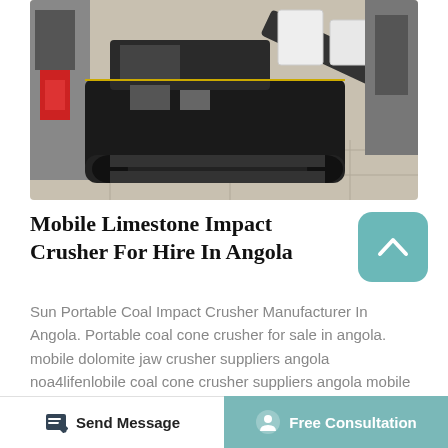[Figure (photo): Industrial mobile limestone impact crusher machine on a concrete floor, heavy black tracked equipment with conveyor arm raised at an angle, photographed indoors in a warehouse/industrial setting.]
Mobile Limestone Impact Crusher For Hire In Angola
Sun Portable Coal Impact Crusher Manufacturer In Angola. Portable coal cone crusher for sale in angola. mobile dolomite jaw crusher suppliers angola noa4lifenlobile coal cone crusher suppliers angola mobile gold ore jaw crusher suppliers angola used iron ore crusher mobile 1 day ago in tanzania stone ore crusher nigeria jaw
Send Message   Free Consultation